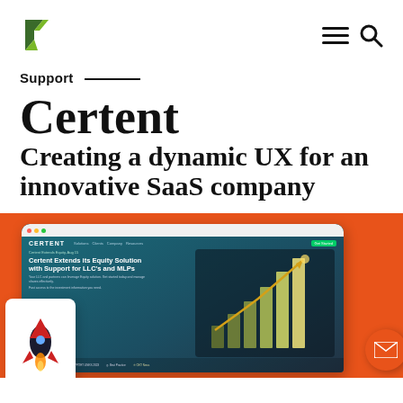[Figure (logo): Green and dark green K-shaped logo mark]
[Figure (illustration): Hamburger menu icon and search/magnifier icon in top right navigation]
Support
Certent
Creating a dynamic UX for an innovative SaaS company
[Figure (screenshot): Orange background with browser mockup showing Certent website with teal header, navigation, hero text 'Certent Extends its Equity Solution with Support for LLC's and MLPs', financial chart with rising bars and arrow, and a tablet mockup showing a rocket illustration. A mail button floats in bottom right.]